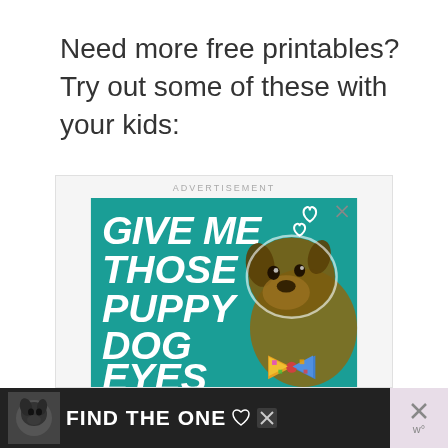Need more free printables? Try out some of these with your kids:
[Figure (infographic): Advertisement banner with teal background showing a dog with text 'GIVE ME THOSE PUPPY DOG EYES' and heart symbols. Below is a dark banner with 'FIND THE ONE' text and a dog photo.]